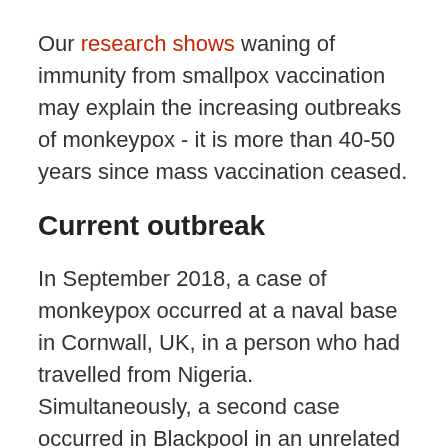Our research shows waning of immunity from smallpox vaccination may explain the increasing outbreaks of monkeypox - it is more than 40-50 years since mass vaccination ceased.
Current outbreak
In September 2018, a case of monkeypox occurred at a naval base in Cornwall, UK, in a person who had travelled from Nigeria. Simultaneously, a second case occurred in Blackpool in an unrelated person returning from Nigeria, and a nurse also became infected in the